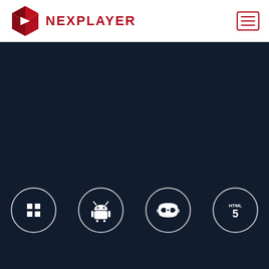[Figure (logo): NexPlayer logo with red geometric hexagon icon and red NEXPLAYER text]
[Figure (screenshot): Navigation hamburger menu button with red border and three red horizontal lines]
[Figure (infographic): Dark navy background section with four circular platform icons at bottom: Windows, Android, VR headset (Apple Vision Pro), and HTML5]